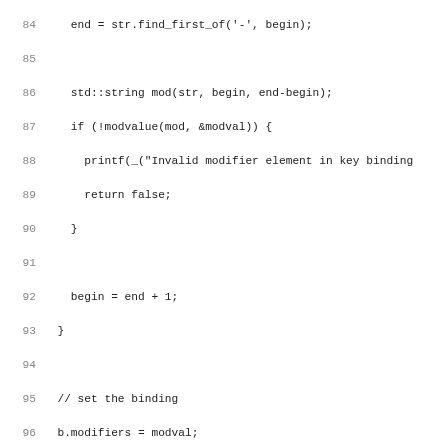[Figure (screenshot): Source code listing in C++ showing lines 84-115 of a key binding parser function and beginning of destroytree function, displayed in monospace font with line numbers.]